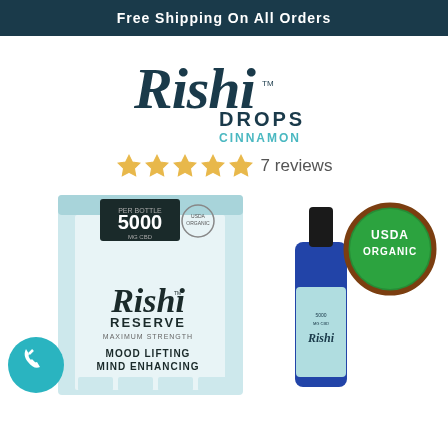Free Shipping On All Orders
[Figure (logo): Rishi Drops Cinnamon logo with stylized script lettering and DROPS CINNAMON text]
★★★★★ 7 reviews
[Figure (photo): Rishi Reserve Maximum Strength 5000mg CBD product box, a blue dropper bottle, USDA Organic badge, and a teal phone icon]